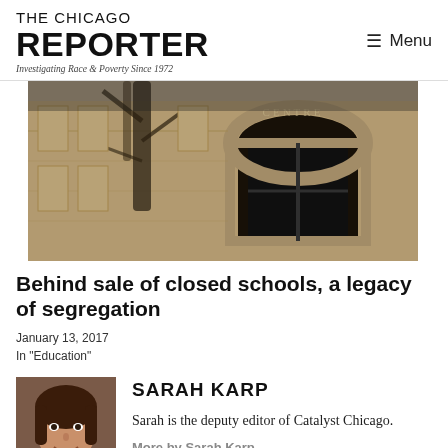THE CHICAGO REPORTER
Investigating Race & Poverty Since 1972
[Figure (photo): Exterior photograph of a stone building entrance with an arched window and a bare tree in front, in sepia/warm tone]
Behind sale of closed schools, a legacy of segregation
January 13, 2017
In "Education"
[Figure (photo): Portrait photo of Sarah Karp, a woman with dark hair smiling]
SARAH KARP
Sarah is the deputy editor of Catalyst Chicago.
More by Sarah Karp